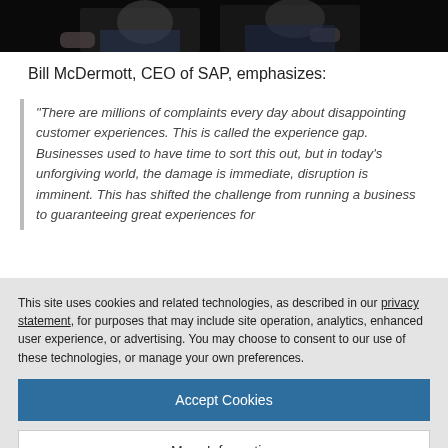[Figure (photo): Photo strip showing Bill McDermott gesturing on stage against a dark background]
Bill McDermott, CEO of SAP, emphasizes:
“There are millions of complaints every day about disappointing customer experiences. This is called the experience gap. Businesses used to have time to sort this out, but in today’s unforgiving world, the damage is immediate, disruption is imminent. This has shifted the challenge from running a business to guaranteeing great experiences for
This site uses cookies and related technologies, as described in our privacy statement, for purposes that may include site operation, analytics, enhanced user experience, or advertising. You may choose to consent to our use of these technologies, or manage your own preferences.
Accept Cookies
More Information
Privacy Policy | Powered by: TrustArc
The platform utilizes deep learning neural networks, artificial